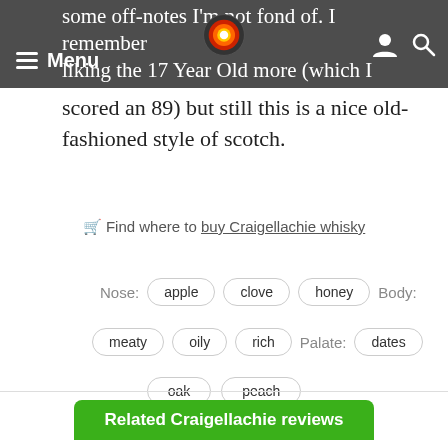Menu
some off-notes I'm not fond of. I remember liking the 17 Year Old more (which I had scored an 89) but still this is a nice old-fashioned style of scotch.
🛒 Find where to buy Craigellachie whisky
Nose: apple  clove  honey  Body:
meaty  oily  rich  Palate: dates
oak  peach
Related Craigellachie reviews